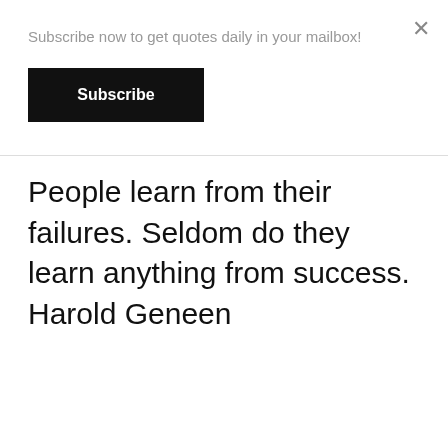Subscribe now to get quotes daily in your mailbox!
Subscribe
×
People learn from their failures. Seldom do they learn anything from success. Harold Geneen